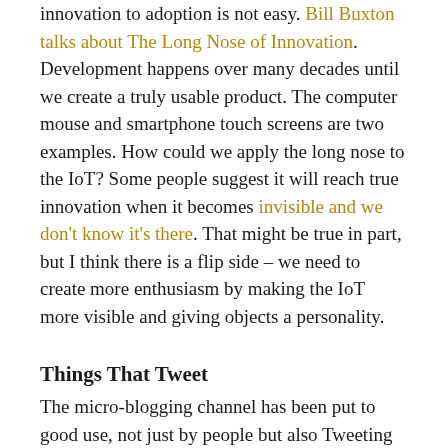innovation to adoption is not easy. Bill Buxton talks about The Long Nose of Innovation. Development happens over many decades until we create a truly usable product. The computer mouse and smartphone touch screens are two examples. How could we apply the long nose to the IoT? Some people suggest it will reach true innovation when it becomes invisible and we don't know it's there. That might be true in part, but I think there is a flip side – we need to create more enthusiasm by making the IoT more visible and giving objects a personality.
Things That Tweet
The micro-blogging channel has been put to good use, not just by people but also Tweeting objects. We have Mars Curiosity (@marscuriosity), the Crossrail Tunneling machine, Big Bertha (@BerthaDigsCR99) and